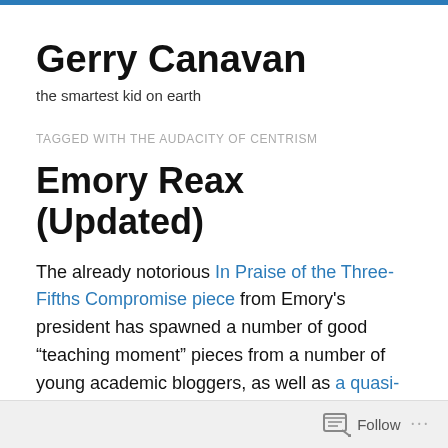Gerry Canavan
the smartest kid on earth
TAGGED WITH THE AUDACITY OF CENTRISM
Emory Reax (Updated)
The already notorious In Praise of the Three-Fifths Compromise piece from Emory's president has spawned a number of good “teaching moment” pieces from a number of young academic bloggers, as well as a quasi-retraction from Wagner himself. (Don’t call it a gaffe!) First, the retraction; I’m glad this is up so quickly, but it importantly
Follow